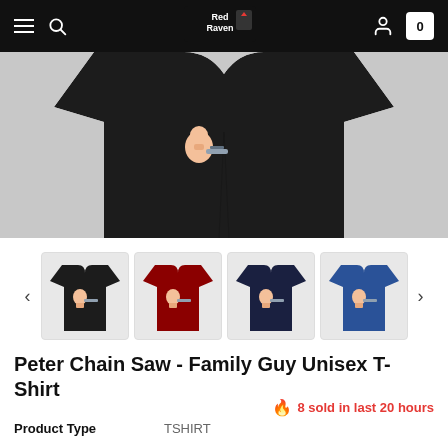Red Raven — navigation bar with hamburger, search, logo, user icon, cart (0)
[Figure (photo): Black t-shirt laid flat on a grey background, shown from above, with a small cartoon graphic on the chest area.]
[Figure (photo): Thumbnail strip showing four color variants of the t-shirt: black, red, dark navy, and blue.]
Peter Chain Saw - Family Guy Unisex T-Shirt
🔥 8 sold in last 20 hours
| Product Type |  |
| --- | --- |
| Product Type | TSHIRT |